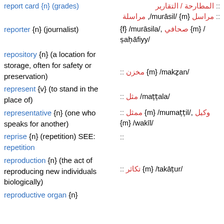report card {n} (grades) :: [Arabic top partial]
reporter {n} (journalist) :: مراسل {m} /murāsil/, مراسلة {f} /murāsila/, صحافي {m} /ṣaḥāfiyy/
repository {n} (a location for storage, often for safety or preservation) :: مخزن {m} /makẕan/
represent {v} (to stand in the place of) :: مثل /maṭṭala/
representative {n} (one who speaks for another) :: ممثل {m} /mumaṭṭil/, وكيل {m} /wakīl/
reprise {n} (repetition) SEE: repetition ::
reproduction {n} (the act of reproducing new individuals biologically) :: تكاثر {m} /takāṭur/
reproductive organ {n}